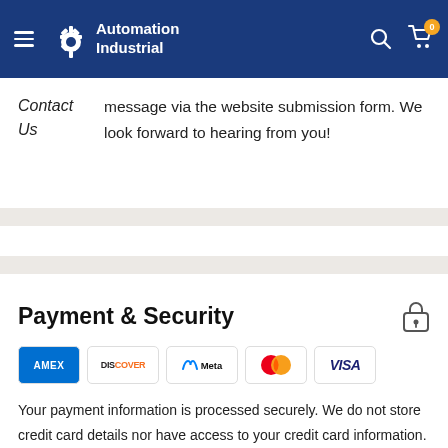[Figure (logo): Automation Industrial logo with gear icon on dark blue header bar with hamburger menu, search icon, and cart icon with 0 badge]
Contact Us
message via the website submission form. We look forward to hearing from you!
Payment & Security
[Figure (illustration): Payment method logos: American Express (AMEX), Discover, Meta Pay, Mastercard, Visa]
Your payment information is processed securely. We do not store credit card details nor have access to your credit card information.